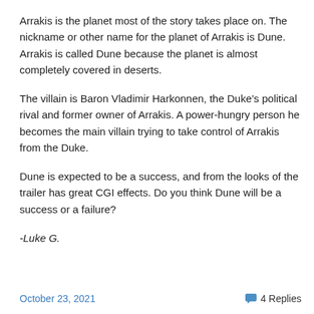Arrakis is the planet most of the story takes place on. The nickname or other name for the planet of Arrakis is Dune. Arrakis is called Dune because the planet is almost completely covered in deserts.
The villain is Baron Vladimir Harkonnen, the Duke’s political rival and former owner of Arrakis. A power-hungry person he becomes the main villain trying to take control of Arrakis from the Duke.
Dune is expected to be a success, and from the looks of the trailer has great CGI effects. Do you think Dune will be a success or a failure?
-Luke G.
October 23, 2021   💬 4 Replies